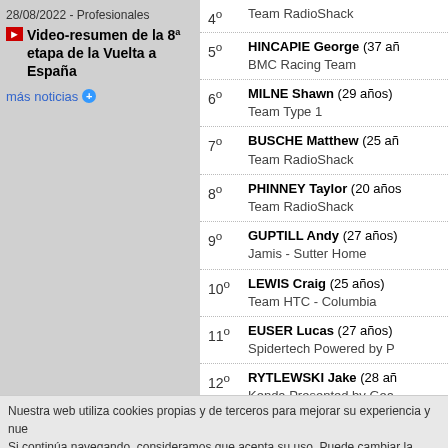28/08/2022 - Profesionales
Video-resumen de la 8ª etapa de la Vuelta a España
más noticias
4º Team RadioShack
5º HINCAPIE George (37 años) BMC Racing Team
6º MILNE Shawn (29 años) Team Type 1
7º BUSCHE Matthew (25 años) Team RadioShack
8º PHINNEY Taylor (20 años) Team RadioShack
9º GUPTILL Andy (27 años) Jamis - Sutter Home
10º LEWIS Craig (25 años) Team HTC - Columbia
11º EUSER Lucas (27 años) Spidertech Powered by P
12º RYTLEWSKI Jake (28 años) Kenda Presented by Gea
13º STEWART Scott (23 años) Team Type 1
14º BOOKWALTER Brent (26 años) BMC Racing Team
15º BALDWIN Christopher Unitedhealthcare Present
16º JENKINS Max (24 años) Unitedhealthcare Present
17º SHIRLEY Neil (32 años)
Nuestra web utiliza cookies propias y de terceros para mejorar su experiencia y nue Si continúa navegando, consideramos que acepta su uso. Puede cambiar la configu